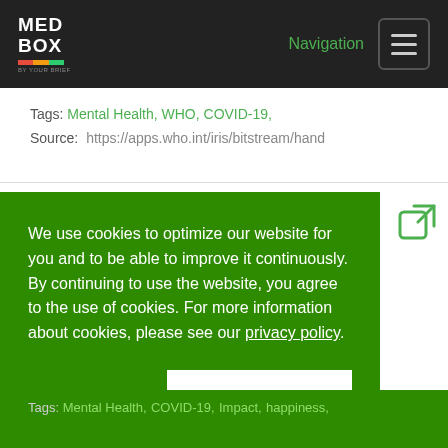MED BOX — Navigation
Tags: Mental Health, WHO, COVID-19,
Source: https://apps.who.int/iris/bitstream/hand
We use cookies to optimize our website for you and to be able to improve it continuously. By continuing to use the website, you agree to the use of cookies. For more information about cookies, please see our privacy policy.
Reject   Accepted
Tags: Mental Health, COVID-19, Impact, happiness,